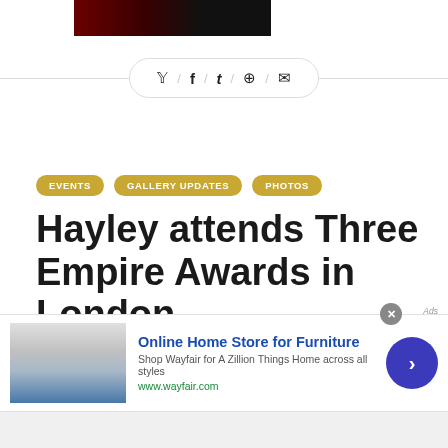[Figure (photo): Partial top image strip showing dark/red background, cropped]
[Figure (infographic): Social share bar with Twitter, Facebook, Tumblr, Pinterest, and email icons in a pill-shaped border]
EVENTS   GALLERY UPDATES   PHOTOS
Hayley attends Three Empire Awards in London
[Figure (infographic): Advertisement: Online Home Store for Furniture - Wayfair. Shows kitchen appliance image, text 'Shop Wayfair for A Zillion Things Home across all styles', www.wayfair.com, with blue arrow button and close X button.]